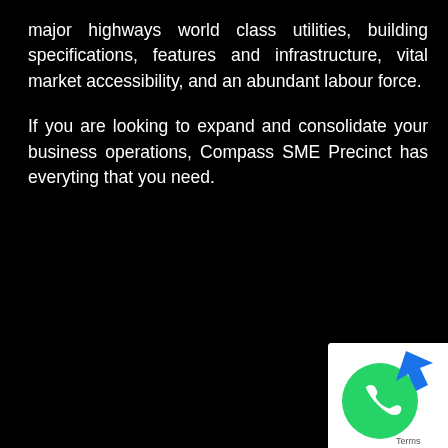major highways world class utilities, building specifications, features and infrastructure, vital market accessibility, and an abundant labour force.
If you are looking to expand and consolidate your business operations, Compass SME Precinct has everyting that you need.
[Figure (logo): WhatsApp logo icon (green bubble with phone handset) with a blue arrow/cursor icon overlapping, on white background, with 'Terms' text label]